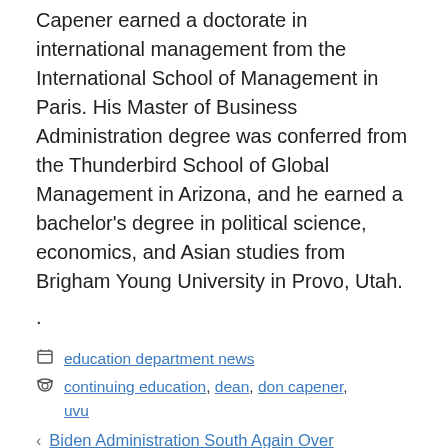Capener earned a doctorate in international management from the International School of Management in Paris. His Master of Business Administration degree was conferred from the Thunderbird School of Global Management in Arizona, and he earned a bachelor's degree in political science, economics, and Asian studies from Brigham Young University in Provo, Utah.
.
education department news
continuing education, dean, don capener, uvu
Biden Administration South Again Over